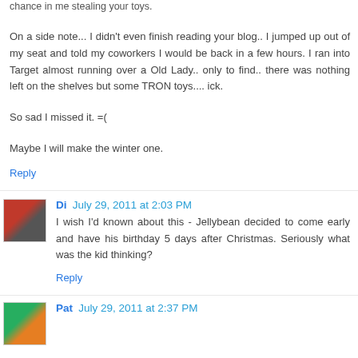chance in me stealing your toys.
On a side note... I didn't even finish reading your blog.. I jumped up out of my seat and told my coworkers I would be back in a few hours. I ran into Target almost running over a Old Lady.. only to find.. there was nothing left on the shelves but some TRON toys.... ick.
So sad I missed it. =(
Maybe I will make the winter one.
Reply
Di  July 29, 2011 at 2:03 PM
I wish I'd known about this - Jellybean decided to come early and have his birthday 5 days after Christmas. Seriously what was the kid thinking?
Reply
Pat  July 29, 2011 at 2:37 PM